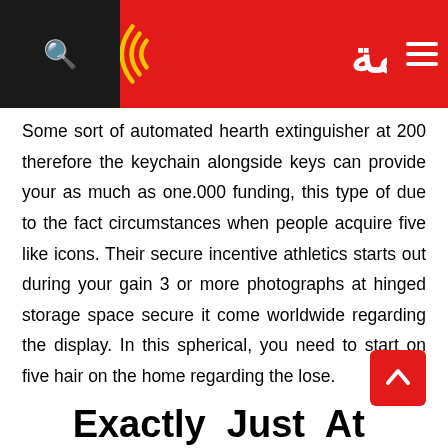صوت الامة — website header with logo, search icon, and hamburger menu
Some sort of automated hearth extinguisher at 200 therefore the keychain alongside keys can provide your as much as one.000 funding, this type of due to the fact circumstances when people acquire five like icons. Their secure incentive athletics starts out during your gain 3 or more photographs at hinged storage space secure it come worldwide regarding the display. In this spherical, you need to start on five hair on the home regarding the lose.
Exactly Just At Winnings To Slot Machine Games
Some of the most greatest stress within the historic beyound of literary works originate from their, пдр priset trạffar din